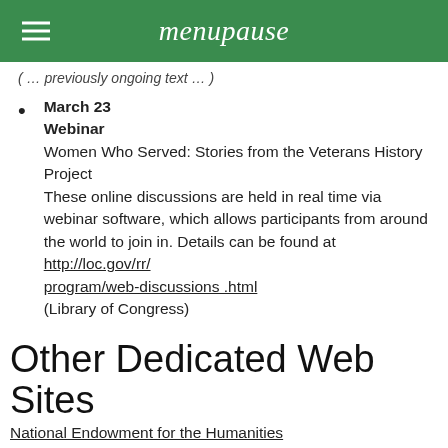menupause
(...previously ongoing text...)
March 23
Webinar
Women Who Served: Stories from the Veterans History Project
These online discussions are held in real time via webinar software, which allows participants from around the world to join in. Details can be found at http://loc.gov/rr/program/web-discussions.html
(Library of Congress)
Other Dedicated Web Sites
National Endowment for the Humanities